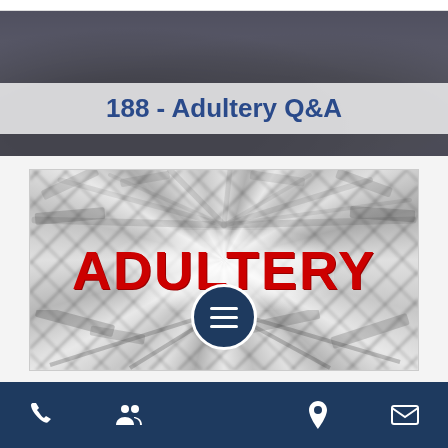188 - Adultery Q&A
[Figure (illustration): Word burst image with the word ADULTERY in large bold red text at the center, surrounded by blurred and fragmented text words radiating outward in black and white]
Navigation bar with phone, team, menu, location, and email icons